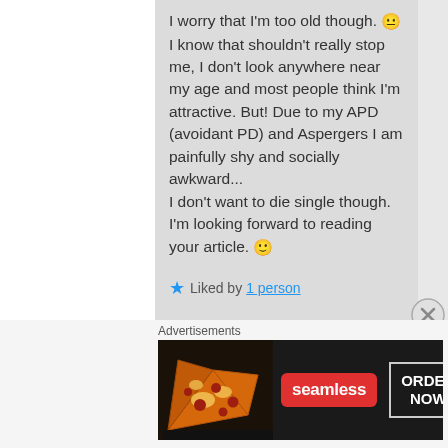I worry that I'm too old though. 😐 I know that shouldn't really stop me, I don't look anywhere near my age and most people think I'm attractive. But! Due to my APD (avoidant PD) and Aspergers I am painfully shy and socially awkward...
I don't want to die single though.
I'm looking forward to reading your article. 🙂
★ Liked by 1 person
Advertisements
[Figure (screenshot): Seamless food ordering advertisement banner showing pizza slices on dark background with seamless logo and ORDER NOW button]